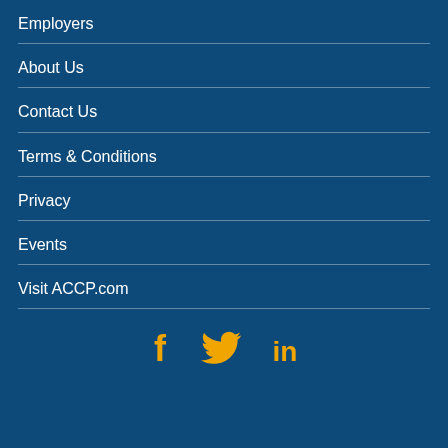Employers
About Us
Contact Us
Terms & Conditions
Privacy
Events
Visit ACCP.com
[Figure (illustration): Social media icons: Facebook (f), Twitter (bird), LinkedIn (in) in orange/gold color]